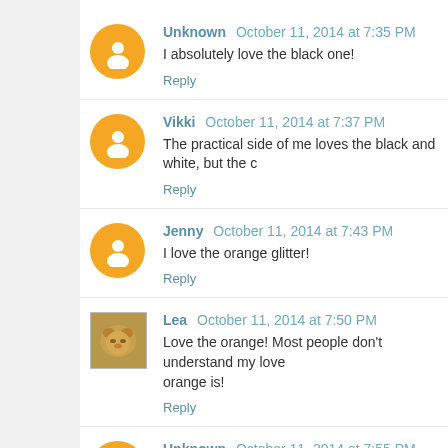Unknown October 11, 2014 at 7:35 PM
I absolutely love the black one!
Reply
Vikki October 11, 2014 at 7:37 PM
The practical side of me loves the black and white, but the c
Reply
Jenny October 11, 2014 at 7:43 PM
I love the orange glitter!
Reply
Lea October 11, 2014 at 7:50 PM
Love the orange! Most people don't understand my love orange is!
Reply
Unknown October 11, 2014 at 7:55 PM